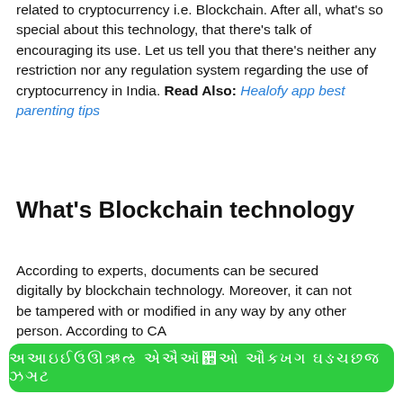related to cryptocurrency i.e. Blockchain. After all, what's so special about this technology, that there's talk of encouraging its use. Let us tell you that there's neither any restriction nor any regulation system regarding the use of cryptocurrency in India. Read Also: Healofy app best parenting tips
What's Blockchain technology
According to experts, documents can be secured digitally by blockchain technology. Moreover, it can not be tampered with or modified in any way by any other person. According to CA
[Figure (other): Green banner button with Hindi/Devanagari text in white]